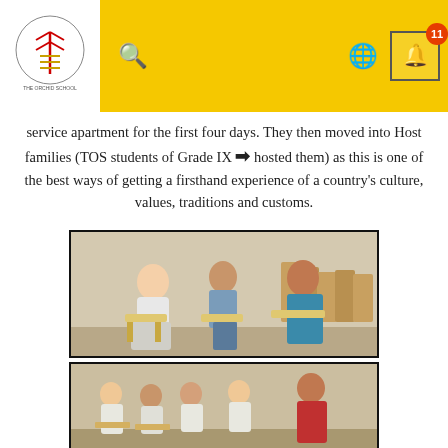TOS school header with logo, search, globe and notification icons
service apartment for the first four days. They then moved into Host families (TOS students of Grade IX hosted them) as this is one of the best ways of getting a firsthand experience of a country's culture, values, traditions and customs.
[Figure (photo): Three people sitting on plastic chairs in a room — a young man in white shirt on the left, a teen in the middle, and a woman in a blue sari on the right, appearing to have a conversation.]
[Figure (photo): A group of students and adults sitting together in a room, some in white shirts, appearing to be in a discussion or activity session.]